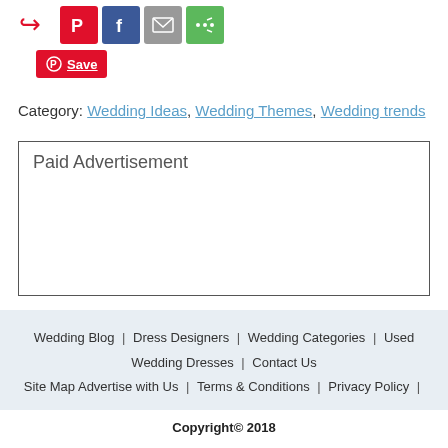[Figure (other): Row of social sharing icons: Swift/share, Pinterest (red), Facebook (blue), Email (gray), More/share (green)]
Save
Category: Wedding Ideas, Wedding Themes, Wedding trends
Paid Advertisement
Wedding Blog | Dress Designers | Wedding Categories | Used Wedding Dresses | Contact Us | Site Map Advertise with Us | Terms & Conditions | Privacy Policy |
Copyright© 2018